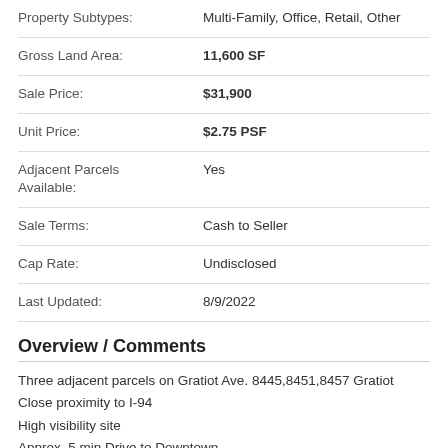| Field | Value |
| --- | --- |
| Property Subtypes: | Multi-Family, Office, Retail, Other |
| Gross Land Area: | 11,600 SF |
| Sale Price: | $31,900 |
| Unit Price: | $2.75 PSF |
| Adjacent Parcels Available: | Yes |
| Sale Terms: | Cash to Seller |
| Cap Rate: | Undisclosed |
| Last Updated: | 8/9/2022 |
Overview / Comments
Three adjacent parcels on Gratiot Ave. 8445,8451,8457 Gratiot
Close proximity to I-94
High visibility site
Approx. 5 min Drive to Downtown